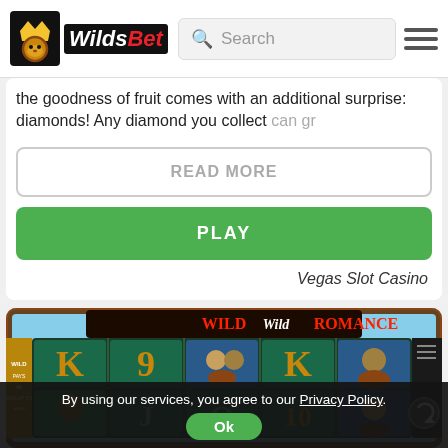WildsBet | Search
the goodness of fruit comes with an additional surprise: diamonds! Any diamond you collect can gr
READ MORE
PLAY
Vegas Slot Casino
[Figure (screenshot): Wild Wild Romance slot game screenshot showing reels with K, 9, J, Q, 10 symbols and character icons on a western-themed game board]
By using our services, you agree to our Privacy Policy. Ok